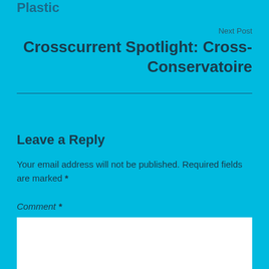Plastic
Next Post
Crosscurrent Spotlight: Cross-Conservatoire
Leave a Reply
Your email address will not be published. Required fields are marked *
Comment *